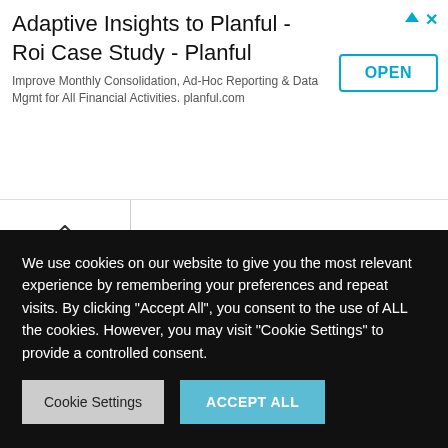[Figure (screenshot): Advertisement banner: 'Adaptive Insights to Planful - Roi Case Study - Planful' with subtitle 'Improve Monthly Consolidation, Ad-Hoc Reporting & Data Mgmt for All Financial Activities. planful.com' and an OPEN button with blue border.]
We use cookies on our website to give you the most relevant experience by remembering your preferences and repeat visits. By clicking "Accept All", you consent to the use of ALL the cookies. However, you may visit "Cookie Settings" to provide a controlled consent.
Cookie Settings
ACCEPT ALL